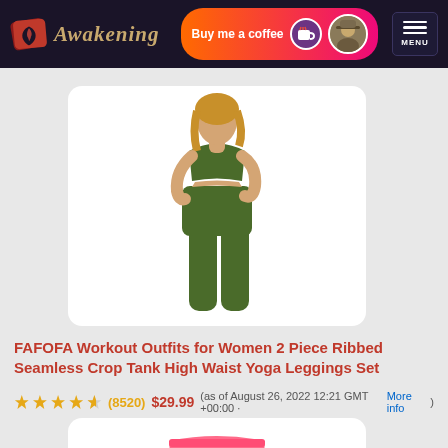Awakening | Buy me a coffee | MENU
[Figure (photo): Woman wearing a dark olive/army green 2-piece workout outfit consisting of a crop sports bra top and high-waist ribbed seamless leggings]
FAFOFA Workout Outfits for Women 2 Piece Ribbed Seamless Crop Tank High Waist Yoga Leggings Set
(8520)  $29.99  (as of August 26, 2022 12:21 GMT +00:00 · More info)
[Figure (photo): Woman wearing pink athletic shorts with white trim, showing bottom half only]